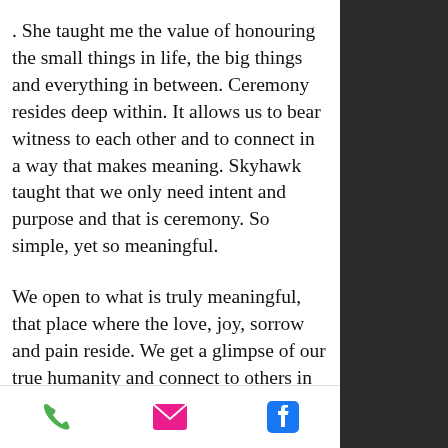. She taught me the value of honouring the small things in life, the big things and everything in between. Ceremony resides deep within. It allows us to bear witness to each other and to connect in a way that makes meaning. Skyhawk taught that we only need intent and purpose and that is ceremony. So simple, yet so meaningful.
We open to what is truly meaningful, that place where the love, joy, sorrow and pain reside. We get a glimpse of our true humanity and connect to others in an exquisitely beautiful way.